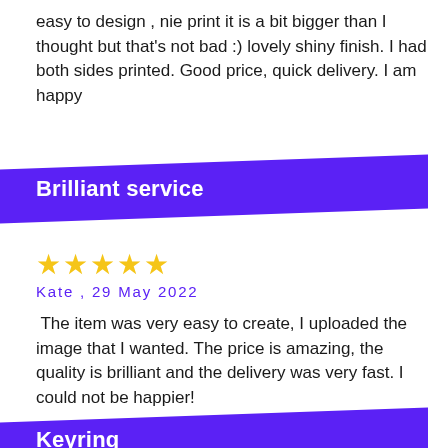easy to design , nie print it is a bit bigger than I thought but that's not bad :) lovely shiny finish. I had both sides printed. Good price, quick delivery. I am happy
Brilliant service
★★★★★
Kate , 29 May 2022
The item was very easy to create, I uploaded the image that I wanted. The price is amazing, the quality is brilliant and the delivery was very fast. I could not be happier!
Keyring